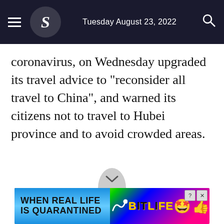Tuesday August 23, 2022
coronavirus, on Wednesday upgraded its travel advice to "reconsider all travel to China", and warned its citizens not to travel to Hubei province and to avoid crowded areas.
[Figure (illustration): Advertisement banner for BitLife mobile game with rainbow gradient and game mascot emoji characters]
Ad: WHEN REAL LIFE IS QUARANTINED — BitLife